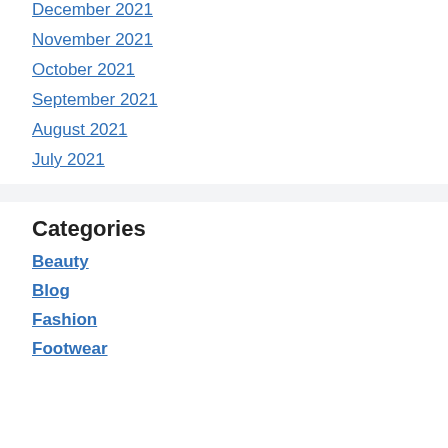December 2021
November 2021
October 2021
September 2021
August 2021
July 2021
Categories
Beauty
Blog
Fashion
Footwear